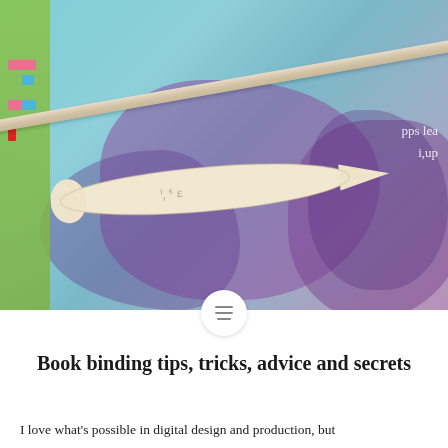[Figure (photo): A bone folder tool lying on top of printed artwork with teal and purple colors. A wooden stick/ruler is also visible. The left edge has a green strip with pink, blue, and red color registration squares. Partial text visible in upper right: 'pps lea' and 'i,up'.]
Book binding tips, tricks, advice and secrets
I love what's possible in digital design and production, but